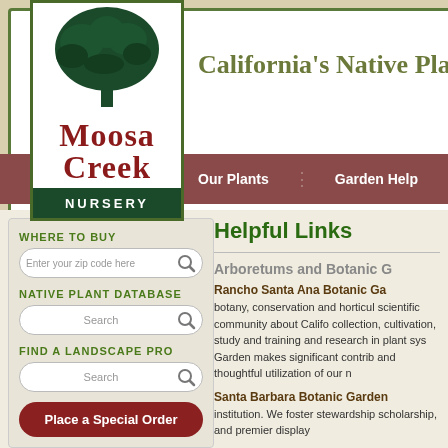[Figure (logo): Moosa Creek Nursery logo with tree illustration, red serif text 'Moosa Creek' and dark green 'NURSERY' bar]
California's Native Pla
Our Plants
Garden Help
WHERE TO BUY
Enter your zip code here
NATIVE PLANT DATABASE
Search
FIND A LANDSCAPE PRO
Search
Place a Special Order
Helpful Links
Arboretums and Botanic G
Rancho Santa Ana Botanic Ga botany, conservation and horticultural scientific community about Califo collection, cultivation, study and training and research in plant sys Garden makes significant contrib and thoughtful utilization of our n
Santa Barbara Botanic Garden institution. We foster stewardship scholarship, and premier display